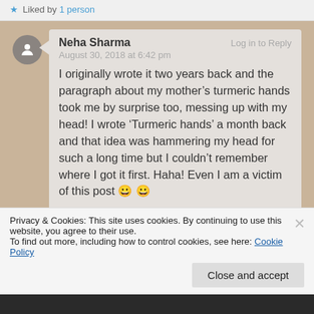Liked by 1 person
Neha Sharma
August 30, 2018 at 6:42 pm

I originally wrote it two years back and the paragraph about my mother’s turmeric hands took me by surprise too, messing up with my head! I wrote ‘Turmeric hands’ a month back and that idea was hammering my head for such a long time but I couldn’t remember where I got it first. Haha! Even I am a victim of this post 😀 😀
Privacy & Cookies: This site uses cookies. By continuing to use this website, you agree to their use.
To find out more, including how to control cookies, see here: Cookie Policy
Close and accept